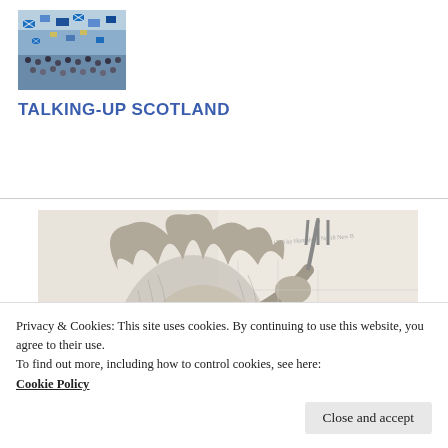[Figure (photo): Photo of a large crowd of people waving Scottish independence blue and white flags at a rally or march]
TALKING-UP SCOTLAND
[Figure (illustration): Black and white engraving or illustration of a wild-looking monster/devil figure with open mouth, wild hair, holding a trident, with other figures in the background]
Privacy & Cookies: This site uses cookies. By continuing to use this website, you agree to their use.
To find out more, including how to control cookies, see here:
Cookie Policy
Close and accept